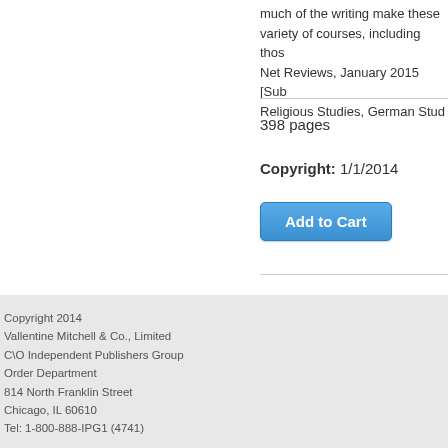much of the writing make these variety of courses, including those Net Reviews, January 2015 [Sub Religious Studies, German Stud
398 pages
Copyright: 1/1/2014
Add to Cart
Copyright 2014
Vallentine Mitchell & Co., Limited
C\O Independent Publishers Group
Order Department
814 North Franklin Street
Chicago, IL 60610
Tel: 1-800-888-IPG1 (4741)
Ecommerce Software by Shopify